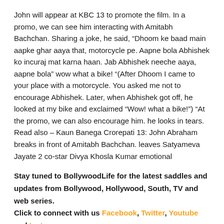John will appear at KBC 13 to promote the film. In a promo, we can see him interacting with Amitabh Bachchan. Sharing a joke, he said, “Dhoom ke baad main aapke ghar aaya that, motorcycle pe. Aapne bola Abhishek ko incuraj mat karna haan. Jab Abhishek neeche aaya, aapne bola” wow what a bike! “(After Dhoom I came to your place with a motorcycle. You asked me not to encourage Abhishek. Later, when Abhishek got off, he looked at my bike and exclaimed “Wow! what a bike!”) “At the promo, we can also encourage him. he looks in tears. Read also – Kaun Banega Crorepati 13: John Abraham breaks in front of Amitabh Bachchan. leaves Satyameva Jayate 2 co-star Divya Khosla Kumar emotional
Stay tuned to BollywoodLife for the latest saddles and updates from Bollywood, Hollywood, South, TV and web series.
Click to connect with us Facebook, Twitter, Youtube and Instagram.
Follow us too Facebook Messenger for the latest updates.